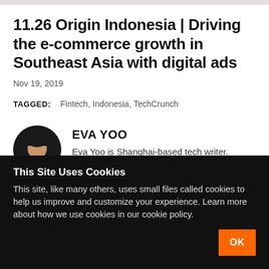11.26 Origin Indonesia | Driving the e-commerce growth in Southeast Asia with digital ads
Nov 19, 2019
TAGGED: Fintech, Indonesia, TechCrunch
EVA YOO
Eva Yoo is Shanghai-based tech writer. Reach
This Site Uses Cookies
This site, like many others, uses small files called cookies to help us improve and customize your experience. Learn more about how we use cookies in our cookie policy.